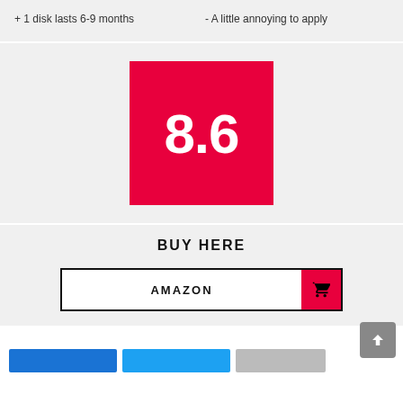+ 1 disk lasts 6-9 months
- A little annoying to apply
[Figure (infographic): Red square score badge showing '8.6' in large white bold text on a red background]
BUY HERE
[Figure (infographic): Amazon buy button: white area with AMAZON label in bold black uppercase letters, red right section with a shopping cart icon]
[Figure (infographic): Bottom partial row of three social share/action buttons: blue, cyan, and gray]